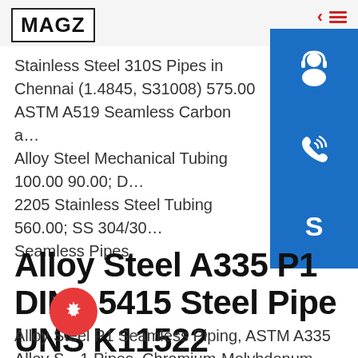[Figure (logo): MAGZ logo in bold text inside a rectangular border]
[Figure (infographic): Right sidebar with expand/collapse chevron and hamburger icons in red, and three blue icon buttons: customer service (headset/person), phone, and Skype]
Stainless Steel 310S Pipes in Chennai (1.4845, S31008) 575.00 ASTM A519 Seamless Carbon and Alloy Steel Mechanical Tubing 100.00 90.00; Duplex 2205 Stainless Steel Tubing 560.00; SS 304/304L Seamless Pipes
Alloy Steel A335 P1 DIN1.5415 Steel Pipe UNS K11522
Alloy Steel P1 Seamless Piping, ASTM A335 Alloy Steel P1 Pipes, Chromium-Molybdenum Steel 1.5415 Seamless Pipes in India, P1 Alloy Steel Seamless Pipe